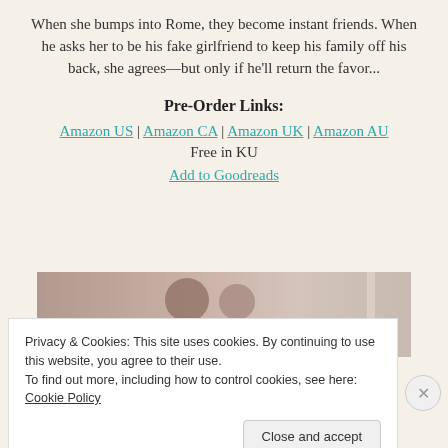When she bumps into Rome, they become instant friends. When he asks her to be his fake girlfriend to keep his family off his back, she agrees—but only if he'll return the favor...
Pre-Order Links:
Amazon US | Amazon CA | Amazon UK | Amazon AU
Free in KU
Add to Goodreads
[Figure (photo): Romantic couple photo, man and woman close together, soft warm tones]
Privacy & Cookies: This site uses cookies. By continuing to use this website, you agree to their use.
To find out more, including how to control cookies, see here: Cookie Policy
Close and accept